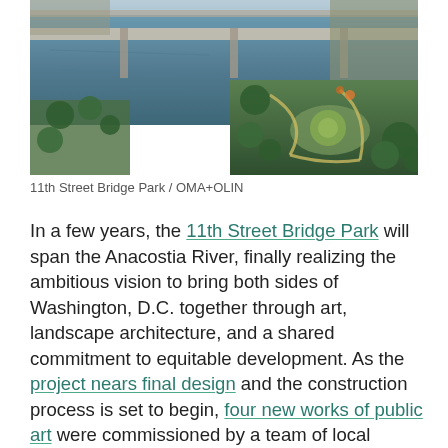[Figure (photo): Aerial photograph of 11th Street Bridge Park area showing the Anacostia River, a bridge spanning the river, parkland with curved pathways, trees, and surrounding roads in Washington D.C.]
11th Street Bridge Park / OMA+OLIN
In a few years, the 11th Street Bridge Park will span the Anacostia River, finally realizing the ambitious vision to bring both sides of Washington, D.C. together through art, landscape architecture, and a shared commitment to equitable development. As the project nears final design and the construction process is set to begin, four new works of public art were commissioned by a team of local residents, landscape architects, and public art curators. According to Scott Kratz, senior vice president, Building Bridges Across the River and director of 11th Street bridge park project, these art works "help embellish the